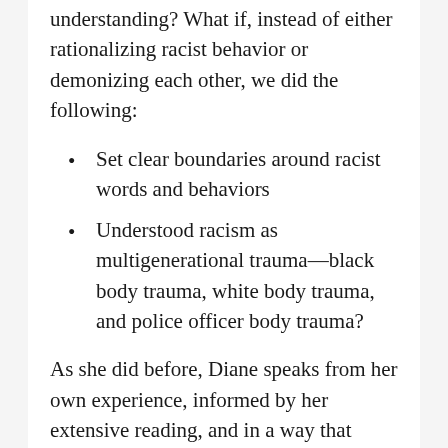understanding? What if, instead of either rationalizing racist behavior or demonizing each other, we did the following:
Set clear boundaries around racist words and behaviors
Understood racism as multigenerational trauma—black body trauma, white body trauma, and police officer body trauma?
As she did before, Diane speaks from her own experience, informed by her extensive reading, and in a way that